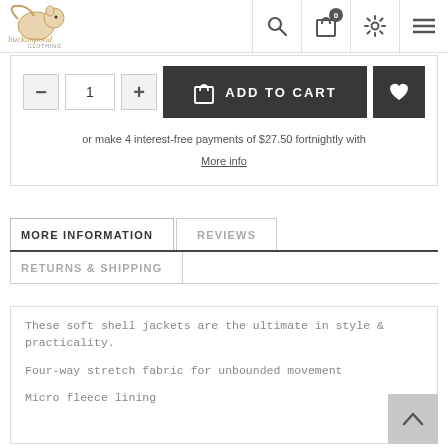buckanpood clothing - navigation header with search, cart (0), settings, and menu icons
or make 4 interest-free payments of $27.50 fortnightly with
More info
MORE INFORMATION
REVIEWS
RETURNS & SHIPPING
These soft shell jackets are the ultimate in style & practicality.
Four-way stretch fabric for unbounded movement
Micro fleece lining